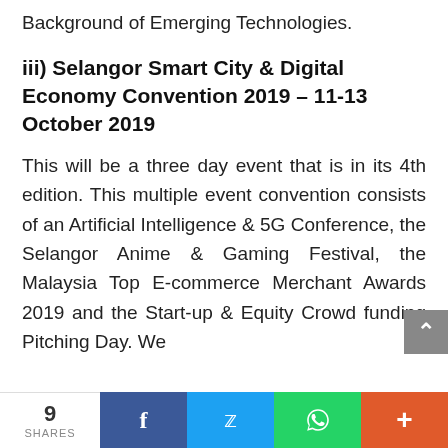Background of Emerging Technologies.
iii) Selangor Smart City & Digital Economy Convention 2019 – 11-13 October 2019
This will be a three day event that is in its 4th edition. This multiple event convention consists of an Artificial Intelligence & 5G Conference, the Selangor Anime & Gaming Festival, the Malaysia Top E-commerce Merchant Awards 2019 and the Start-up & Equity Crowd funding Pitching Day. We
9 SHARES  [Facebook] [Twitter] [WhatsApp] [+]